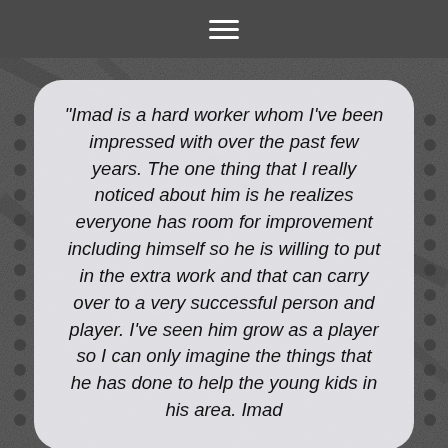“Imad is a hard worker whom I’ve been impressed with over the past few years. The one thing that I really noticed about him is he realizes everyone has room for improvement including himself so he is willing to put in the extra work and that can carry over to a very successful person and player. I’ve seen him grow as a player so I can only imagine the things that he has done to help the young kids in his area. Imad